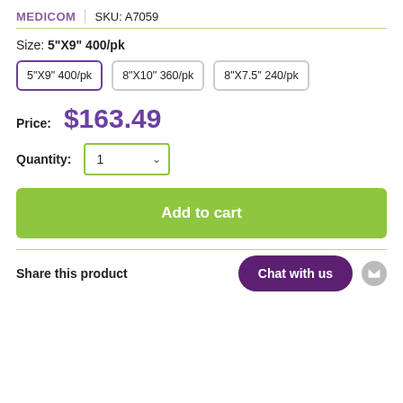MEDICOM  |  SKU: A7059
Size: 5"X9" 400/pk
5"X9" 400/pk | 8"X10" 360/pk | 8"X7.5" 240/pk
Price: $163.49
Quantity: 1
Add to cart
Share this product
Chat with us